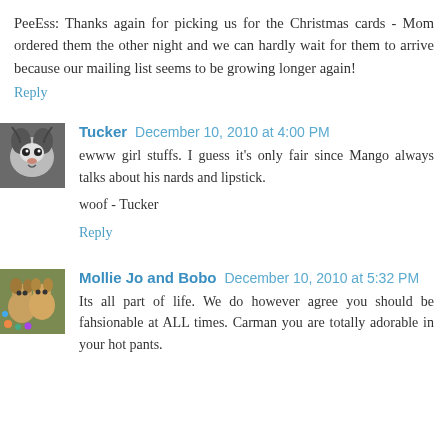PeeEss: Thanks again for picking us for the Christmas cards - Mom ordered them the other night and we can hardly wait for them to arrive because our mailing list seems to be growing longer again!
Reply
Tucker  December 10, 2010 at 4:00 PM
ewww girl stuffs. I guess it's only fair since Mango always talks about his nards and lipstick.

woof - Tucker
Reply
Mollie Jo and Bobo  December 10, 2010 at 5:32 PM
Its all part of life. We do however agree you should be fahsionable at ALL times. Carman you are totally adorable in your hot pants.